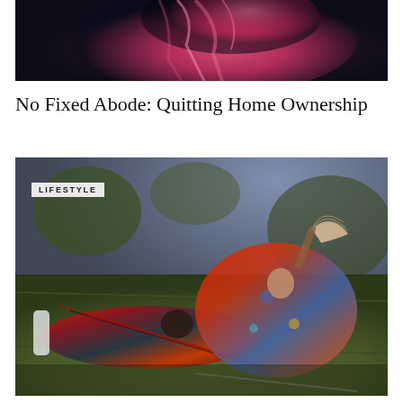[Figure (photo): Top portion of a photo showing a person with pink/red tones, dark background with pink feathery or hair element lit dramatically]
No Fixed Abode: Quitting Home Ownership
[Figure (photo): Photo of two people in colorful fashion clothing lying on grass outdoors. One person wearing orange/red plaid outfit lying on lap of another wearing floral red/blue kimono-style top holding a tan paper fan. A 'LIFESTYLE' badge overlays the top-left corner of the image.]